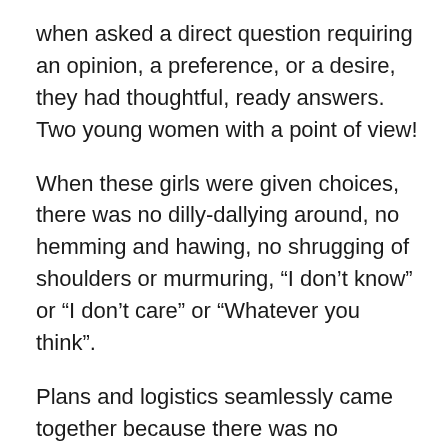when asked a direct question requiring an opinion, a preference, or a desire, they had thoughtful, ready answers. Two young women with a point of view!
When these girls were given choices, there was no dilly-dallying around, no hemming and hawing, no shrugging of shoulders or murmuring, “I don’t know” or “I don’t care” or “Whatever you think”.
Plans and logistics seamlessly came together because there was no second-guessing. I didn’t have to be in charge of every thing. Their ease in speaking up was a gift that led us forward. It allowed us to recalibrate or mix things up. And to fine tune how we enjoyed time together over the weekend.
In the best circumstances, a person begins to develop